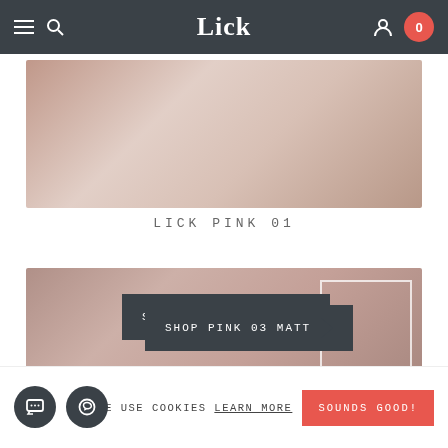Lick — navigation bar with hamburger, search, logo, user icon, cart (0)
[Figure (illustration): Color swatch gradient — Lick Pink 01, a rosy dusty pink gradient]
LICK PINK 01
[Figure (illustration): Color swatch gradient — Pink 03 Matt, darker dusty rose/mauve gradient with white outline rectangle]
SHOP PINK 03 MATT
WE USE COOKIES LEARN MORE
SOUNDS GOOD!